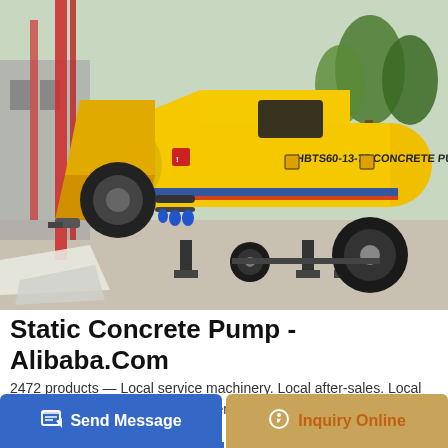[Figure (photo): Yellow HBTS60-13-75 concrete pump machine on a construction site, with red crane equipment visible in the background and trees on the right.]
Static Concrete Pump - Alibaba.Com
2472 products — Local service machinery. Local after-sales. Local demonstration. Check out the extensive inventory of static concrete pump from trusted vendors ...